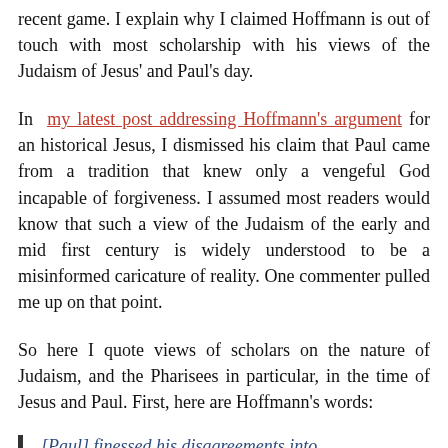recent game. I explain why I claimed Hoffmann is out of touch with most scholarship with his views of the Judaism of Jesus' and Paul's day.
In my latest post addressing Hoffmann's argument for an historical Jesus, I dismissed his claim that Paul came from a tradition that knew only a vengeful God incapable of forgiveness. I assumed most readers would know that such a view of the Judaism of the early and mid first century is widely understood to be a misinformed caricature of reality. One commenter pulled me up on that point.
So here I quote views of scholars on the nature of Judaism, and the Pharisees in particular, in the time of Jesus and Paul. First, here are Hoffmann's words:
[Paul] finessed his disagreements into